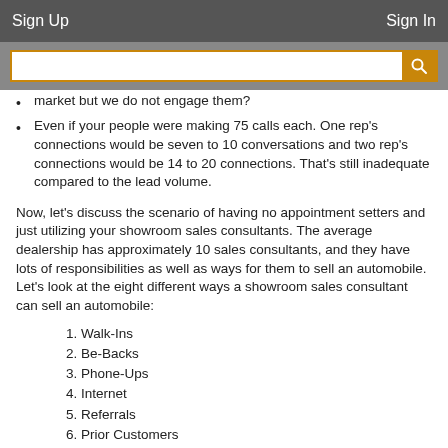Sign Up   Sign In
market but we do not engage them?
Even if your people were making 75 calls each. One rep's connections would be seven to 10 conversations and two rep's connections would be 14 to 20 connections. That's still inadequate compared to the lead volume.
Now, let's discuss the scenario of having no appointment setters and just utilizing your showroom sales consultants. The average dealership has approximately 10 sales consultants, and they have lots of responsibilities as well as ways for them to sell an automobile. Let's look at the eight different ways a showroom sales consultant can sell an automobile:
1. Walk-Ins
2. Be-Backs
3. Phone-Ups
4. Internet
5. Referrals
6. Prior Customers
7. Service